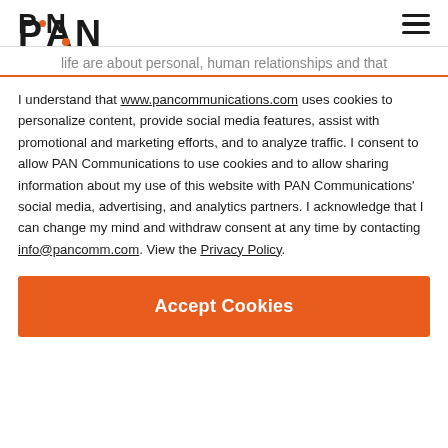PAN [logo with orange dot]
life are about personal, human relationships and that
I understand that www.pancommunications.com uses cookies to personalize content, provide social media features, assist with promotional and marketing efforts, and to analyze traffic. I consent to allow PAN Communications to use cookies and to allow sharing information about my use of this website with PAN Communications' social media, advertising, and analytics partners. I acknowledge that I can change my mind and withdraw consent at any time by contacting info@pancomm.com. View the Privacy Policy.
Accept Cookies